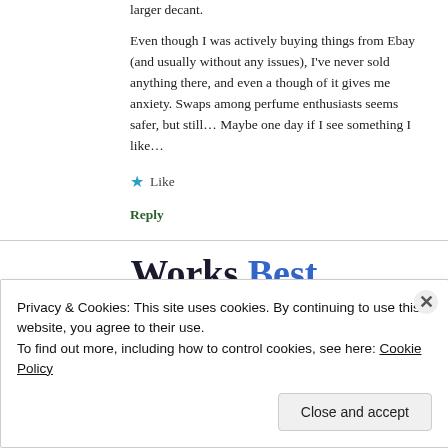larger decant.
Even though I was actively buying things from Ebay (and usually without any issues), I've never sold anything there, and even a though of it gives me anxiety. Swaps among perfume enthusiasts seems safer, but still… Maybe one day if I see something I like…
★ Like
Reply
Works Best
Privacy & Cookies: This site uses cookies. By continuing to use this website, you agree to their use.
To find out more, including how to control cookies, see here: Cookie Policy
Close and accept